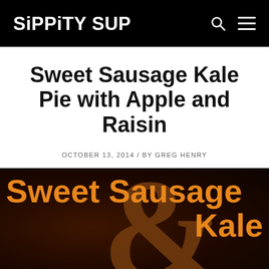SiPPiTY SUP
Sweet Sausage Kale Pie with Apple and Raisin
OCTOBER 13, 2014 / BY GREG HENRY
[Figure (photo): Dark background hero image with large orange bold text reading 'Sweet Sausage Kale' overlaid on a decorative ampersand symbol in dark brown/copper color]